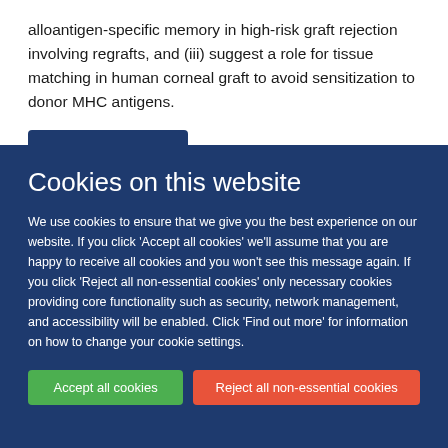alloantigen-specific memory in high-risk graft rejection involving regrafts, and (iii) suggest a role for tissue matching in human corneal graft to avoid sensitization to donor MHC antigens.
Cookies on this website
We use cookies to ensure that we give you the best experience on our website. If you click 'Accept all cookies' we'll assume that you are happy to receive all cookies and you won't see this message again. If you click 'Reject all non-essential cookies' only necessary cookies providing core functionality such as security, network management, and accessibility will be enabled. Click 'Find out more' for information on how to change your cookie settings.